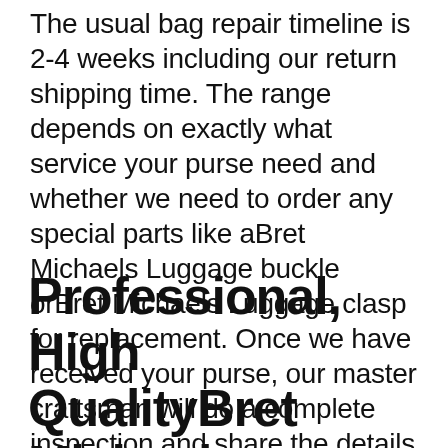The usual bag repair timeline is 2-4 weeks including our return shipping time. The range depends on exactly what service your purse need and whether we need to order any special parts like aBret Michaels Luggage buckle orBret Michaels Luggage clasp for replacement. Once we have received your purse, our master craftsman will do a complete inspection and share the details with you.
Professional, High QualityBret Michaels Luggage Repairs, Renewals